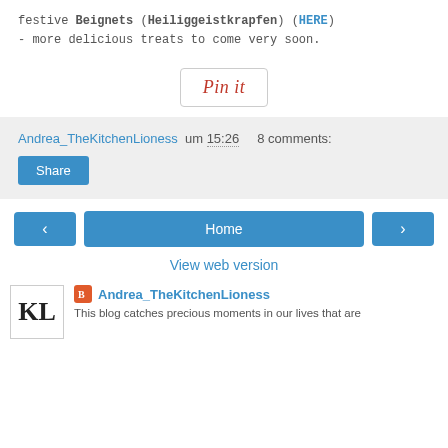festive Beignets (Heiliggeistkrapfen) (HERE) - more delicious treats to come very soon.
[Figure (other): Pinterest 'Pin it' button with rounded rectangle border]
Andrea_TheKitchenLioness um 15:26   8 comments:
Share
< Home >
View web version
Andrea_TheKitchenLioness
This blog catches precious moments in our lives that are